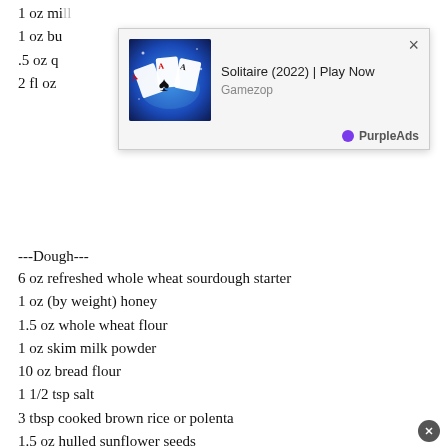1 oz mi...
1 oz bu...
.5 oz q...
2 fl oz ...
[Figure (screenshot): Advertisement overlay showing a card game app. Image of playing cards (Aces) on blue background. Title: 'Solitaire (2022) | Play Now'. Subtitle: 'Gamezop'. Branded: 'PurpleAds'. Close button (×) in top right.]
---Dough---
6 oz refreshed whole wheat sourdough starter
1 oz (by weight) honey
1.5 oz whole wheat flour
1 oz skim milk powder
10 oz bread flour
1 1/2 tsp salt
3 tbsp cooked brown rice or polenta
1.5 oz hulled sunflower seeds
1 oz hulled pumpkin seeds
4 fl oz warm buttermilk
Poppy seeds for topping
The night before you want to bake, combine all the "soaker" ingredients in a small bowl. Allow to stand at room temperature for 12 hours.
Combine the sourdough starter, honey, whole wheat flour...